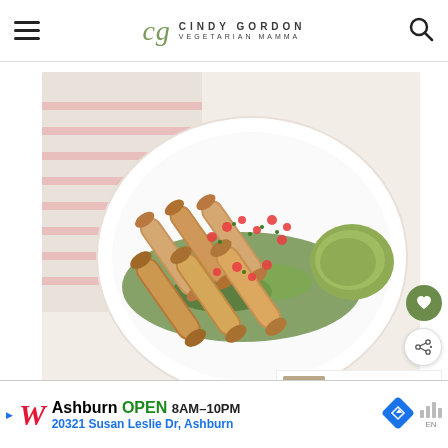CG Cindy Gordon Vegetarian Mamma
[Figure (photo): A white plate with several rolled taquitos garnished with diced tomatoes, fresh herbs, and served alongside guacamole on a bed of mixed greens. A striped kitchen towel is in the background. Social sharing buttons and a heart/favorite button are overlaid on the right side of the image.]
WHAT'S NEXT → Vegan Bacon Bits
3
IS THERE A
[Figure (photo): Circular avatar photo partially visible at bottom left.]
Ashburn OPEN 8AM–10PM 20321 Susan Leslie Dr, Ashburn